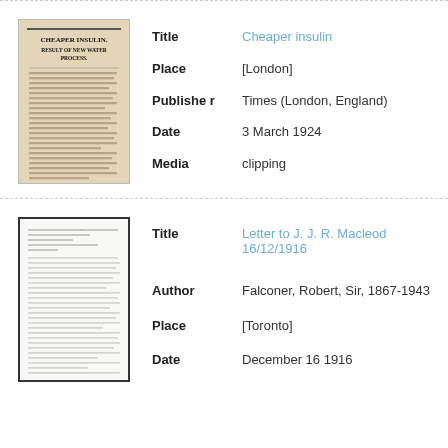[Figure (photo): Thumbnail image of a newspaper clipping titled 'Cheaper Insulin - Result of New Water Process']
| Title | Cheaper insulin |
| Place | [London] |
| Publisher | Times (London, England) |
| Date | 3 March 1924 |
| Media | clipping |
[Figure (photo): Thumbnail image of a typed letter document]
| Title | Letter to J. J. R. Macleod 16/12/1916 |
| Author | Falconer, Robert, Sir, 1867-1943 |
| Place | [Toronto] |
| Date | December 16 1916 |